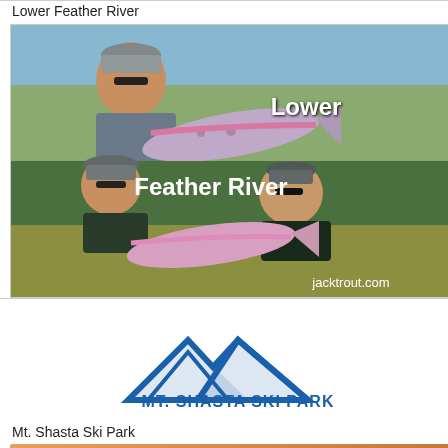Lower Feather River
[Figure (photo): Advertisement image for jacktrout.com showing fishermen holding rainbow trout at the Lower Feather River, with text overlay 'Lower Feather River' and 'jacktrout.com']
[Figure (logo): Mt. Shasta Ski Park logo with blue mountain triangle graphic]
Mt. Shasta Ski Park
[Figure (logo): Shasta.com logo with mountain background]
Shasta.com - Northern CA's
[Figure (photo): Close-up photo of a person in white hat and beige jacket standing near green mossy river water]
Fish on Tom!
[Figure (photo): Landscape photo of a rocky river scene with green forested hills in the background and rocks covered in dark vegetation in the foreground]